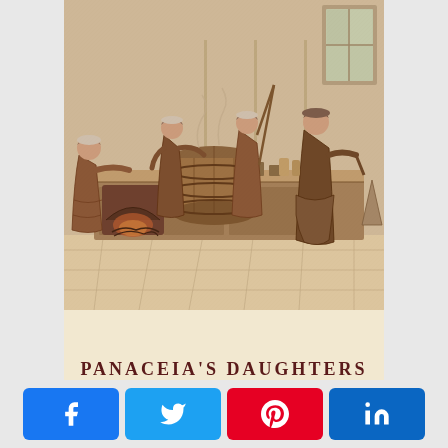[Figure (illustration): Historical engraving in reddish-brown sepia tones showing women working in what appears to be an apothecary or distillery. Several female figures are depicted around a large central vat or barrel on a counter, with a fireplace/furnace on the left and a window on the right. The scene depicts early modern pharmaceutical or alchemical preparation.]
PANACEIA'S DAUGHTERS
[partial subtitle visible, cut off]